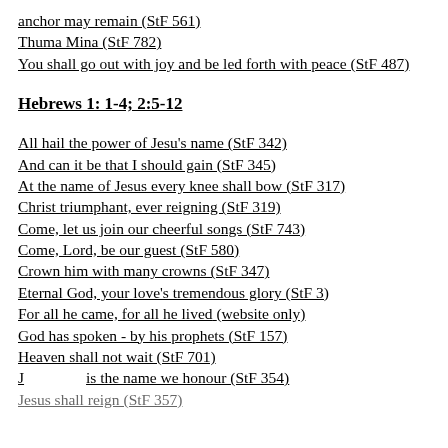anchor may remain (StF 561)
Thuma Mina (StF 782)
You shall go out with joy and be led forth with peace (StF 487)
Hebrews 1: 1-4; 2:5-12
All hail the power of Jesu's name (StF 342)
And can it be that I should gain (StF 345)
At the name of Jesus every knee shall bow (StF 317)
Christ triumphant, ever reigning (StF 319)
Come, let us join our cheerful songs (StF 743)
Come, Lord, be our guest (StF 580)
Crown him with many crowns (StF 347)
Eternal God, your love's tremendous glory (StF 3)
For all he came, for all he lived (website only)
God has spoken - by his prophets (StF 157)
Heaven shall not wait (StF 701)
Jesus is the name we honour (StF 354)
Jesus shall reign (StF 357)